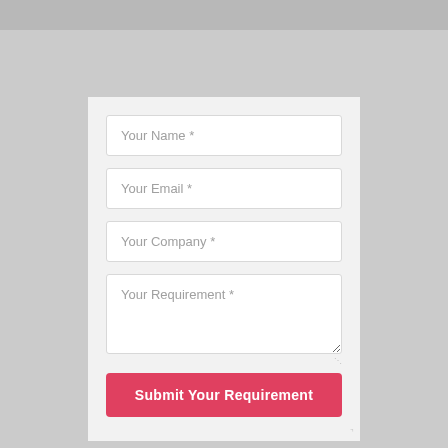[Figure (screenshot): A web contact form with four input fields: Your Name *, Your Email *, Your Company *, Your Requirement *, and a red Submit Your Requirement button, on a light gray card background.]
Your Name *
Your Email *
Your Company *
Your Requirement *
Submit Your Requirement